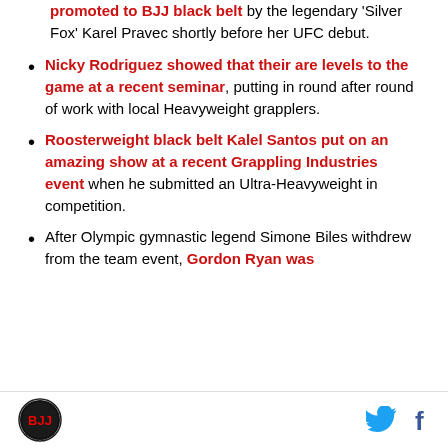promoted to BJJ black belt by the legendary 'Silver Fox' Karel Pravec shortly before her UFC debut.
Nicky Rodriguez showed that their are levels to the game at a recent seminar, putting in round after round of work with local Heavyweight grapplers.
Roosterweight black belt Kalel Santos put on an amazing show at a recent Grappling Industries event when he submitted an Ultra-Heavyweight in competition.
After Olympic gymnastic legend Simone Biles withdrew from the team event, Gordon Ryan was